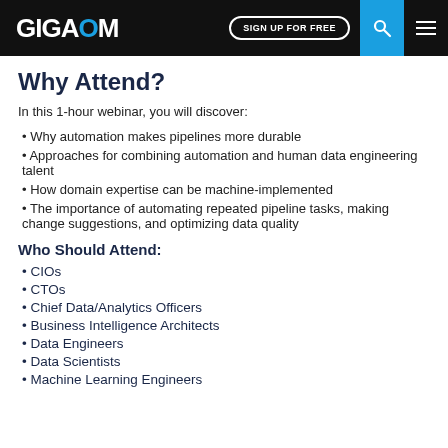GIGAOM | SIGN UP FOR FREE
Why Attend?
In this 1-hour webinar, you will discover:
Why automation makes pipelines more durable
Approaches for combining automation and human data engineering talent
How domain expertise can be machine-implemented
The importance of automating repeated pipeline tasks, making change suggestions, and optimizing data quality
Who Should Attend:
CIOs
CTOs
Chief Data/Analytics Officers
Business Intelligence Architects
Data Engineers
Data Scientists
Machine Learning Engineers